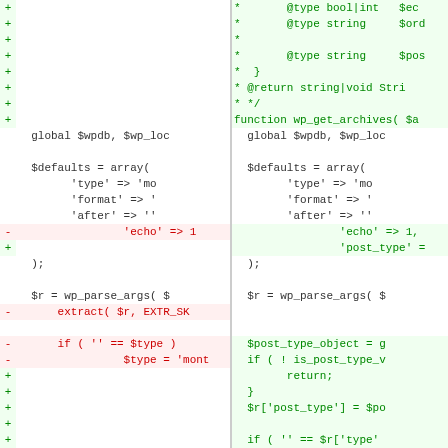[Figure (screenshot): A unified diff view of PHP code for wp_get_archives function, showing left (old) and right (new) side-by-side comparison. Green lines (+) show added code, red lines (-) show removed code, including added @type/@return PHPDoc annotations, a new 'post_type' parameter, removal of extract() call, and addition of post type validation logic.]